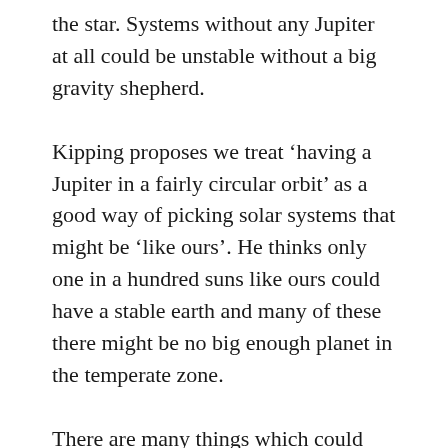the star. Systems without any Jupiter at all could be unstable without a big gravity shepherd.
Kipping proposes we treat ‘having a Jupiter in a fairly circular orbit’ as a good way of picking solar systems that might be ‘like ours’. He thinks only one in a hundred suns like ours could have a stable earth and many of these there might be no big enough planet in the temperate zone.
There are many things which could prevent suitable planets remaining suitable. There are disasters affecting many systems at once (supernova/gamma bursts/wandering stars